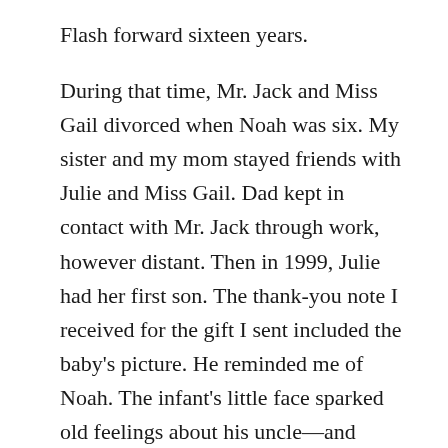Flash forward sixteen years.
During that time, Mr. Jack and Miss Gail divorced when Noah was six. My sister and my mom stayed friends with Julie and Miss Gail. Dad kept in contact with Mr. Jack through work, however distant. Then in 1999, Julie had her first son. The thank-you note I received for the gift I sent included the baby's picture. He reminded me of Noah. The infant's little face sparked old feelings about his uncle—and grandfather.
My mom called me a couple of weeks before the